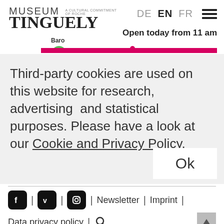MUSEUM TINGUELY | A Cultural Commitment of Roche | DE EN FR | Open today from 11 am
Third-party cookies are used on this website for research, advertising and statistical purposes. Please have a look at our Cookie and Privacy Policy.
Ok
Facebook | Vimeo | Instagram | Newsletter | Imprint | Data privacy policy | Search | Museum Tinguely | Paul Sacher-Anlage 2 | P.O. Box 3255 | CH-4002 Basel | tinguelybasel.infos@roche.com | +41 61 681 93 20 | Bistro T. +41 61 688 94 58